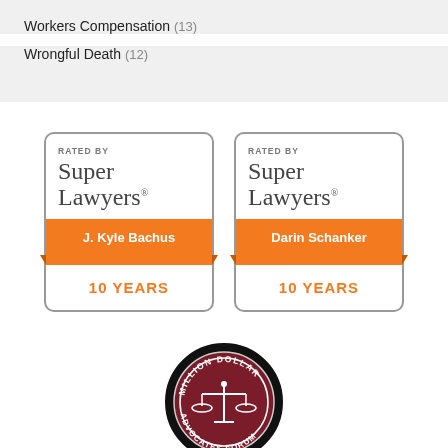Workers Compensation (13)
Wrongful Death (12)
[Figure (logo): Super Lawyers badge for J. Kyle Bachus, Rated by Super Lawyers, 10 Years]
[Figure (logo): Super Lawyers badge for Darin Schanker, Rated by Super Lawyers, 10 Years]
[Figure (logo): Million Dollar Advocates Forum circular seal/logo with scales of justice]